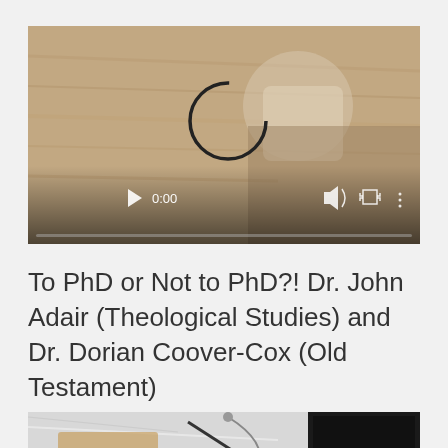[Figure (screenshot): Video player thumbnail showing a wooden desk with a coffee cup, clipboard, and pen. Video is paused/loading at 0:00. Controls bar visible at bottom with play button, time display (0:00), volume icon, fullscreen icon, and settings icon. Progress bar at very bottom.]
To PhD or Not to PhD?! Dr. John Adair (Theological Studies) and Dr. Dorian Coover-Cox (Old Testament)
[Figure (photo): Photo showing a marble surface with office/desk items including what appears to be a clipboard, pen, earphones, and a laptop with a dark/black screen on the right side.]